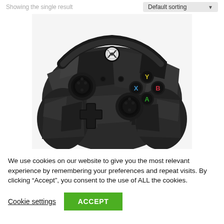Showing the single result
Default sorting
[Figure (photo): Xbox One wireless controller with dark geometric/camouflage pattern design, showing face buttons (Y, X, B, A), left joystick, d-pad, right joystick, bumpers, and Xbox logo button. Dark gray and black color scheme.]
We use cookies on our website to give you the most relevant experience by remembering your preferences and repeat visits. By clicking “Accept”, you consent to the use of ALL the cookies.
Cookie settings
ACCEPT